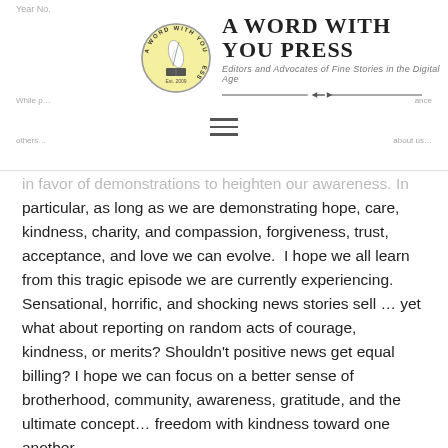A Word with You Press — Editors and Advocates of Fine Stories in the Digital Age
in favor of demonstrations to heighten our awareness. In particular, as long as we are demonstrating hope, care, kindness, charity, and compassion, forgiveness, trust, acceptance, and love we can evolve.  I hope we all learn from this tragic episode we are currently experiencing. Sensational, horrific, and shocking news stories sell … yet what about reporting on random acts of courage, kindness, or merits? Shouldn't positive news get equal billing? I hope we can focus on a better sense of brotherhood, community, awareness, gratitude, and the ultimate concept… freedom with kindness toward one another.
I realize, I am only one person with my experiences… Others may have a very different perspective pursuant to their life…